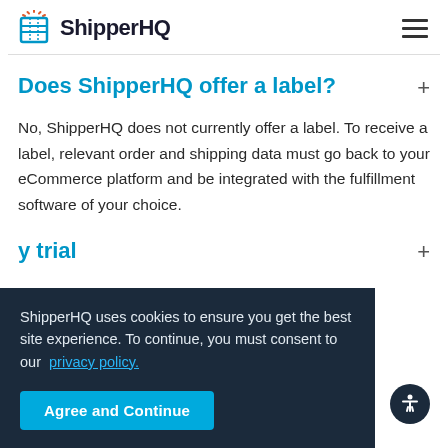ShipperHQ
Does ShipperHQ offer a label?
No, ShipperHQ does not currently offer a label. To receive a label, relevant order and shipping data must go back to your eCommerce platform and be integrated with the fulfillment software of your choice.
y trial
ShipperHQ uses cookies to ensure you get the best site experience. To continue, you must consent to our privacy policy.